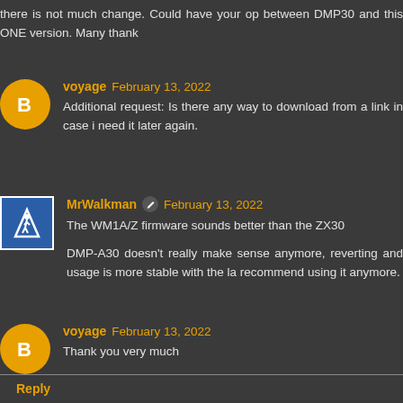there is not much change. Could have your op between DMP30 and this ONE version. Many thank
voyage  February 13, 2022
Additional request: Is there any way to download from a link in case i need it later again.
MrWalkman  February 13, 2022
The WM1A/Z firmware sounds better than the ZX30
DMP-A30 doesn't really make sense anymore, reverting and usage is more stable with the la recommend using it anymore.
voyage  February 13, 2022
Thank you very much
Reply